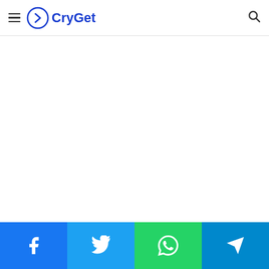CryGet — navigation header with hamburger menu and search icon
[Figure (logo): CryGet logo: blue circle with right-pointing chevron inside, followed by text 'CryGet' in blue]
Social share bar: Facebook, Twitter, WhatsApp, Telegram